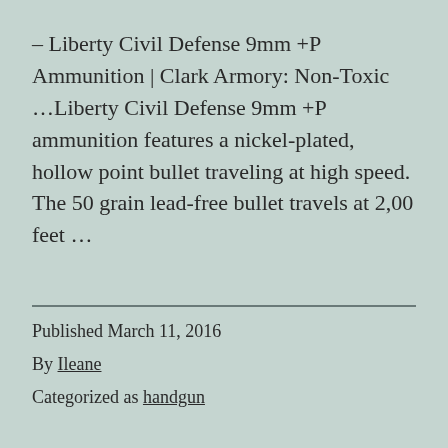– Liberty Civil Defense 9mm +P Ammunition | Clark Armory: Non-Toxic …Liberty Civil Defense 9mm +P ammunition features a nickel-plated, hollow point bullet traveling at high speed. The 50 grain lead-free bullet travels at 2,00 feet …
Published March 11, 2016
By Ileane
Categorized as handgun